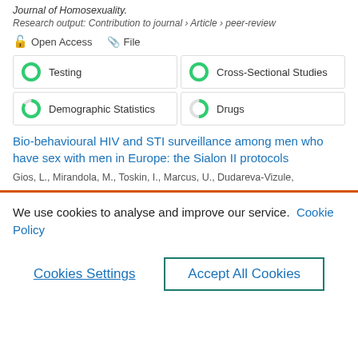Journal of Homosexuality.
Research output: Contribution to journal › Article › peer-review
Open Access   File
| Testing | Cross-Sectional Studies |
| Demographic Statistics | Drugs |
Bio-behavioural HIV and STI surveillance among men who have sex with men in Europe: the Sialon II protocols
Gios, L., Mirandola, M., Toskin, I., Marcus, U., Dudareva-Vizule,
We use cookies to analyse and improve our service.  Cookie Policy
Cookies Settings
Accept All Cookies